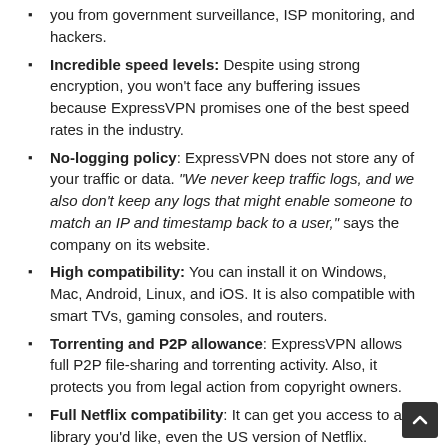you from government surveillance, ISP monitoring, and hackers.
Incredible speed levels: Despite using strong encryption, you won't face any buffering issues because ExpressVPN promises one of the best speed rates in the industry.
No-logging policy: ExpressVPN does not store any of your traffic or data. "We never keep traffic logs, and we also don't keep any logs that might enable someone to match an IP and timestamp back to a user," says the company on its website.
High compatibility: You can install it on Windows, Mac, Android, Linux, and iOS. It is also compatible with smart TVs, gaming consoles, and routers.
Torrenting and P2P allowance: ExpressVPN allows full P2P file-sharing and torrenting activity. Also, it protects you from legal action from copyright owners.
Full Netflix compatibility: It can get you access to any library you'd like, even the US version of Netflix.
IPVANISH
IPVanish is second on our list. A strong set of security features makes it an easy choice to consider. However, the fact that it is